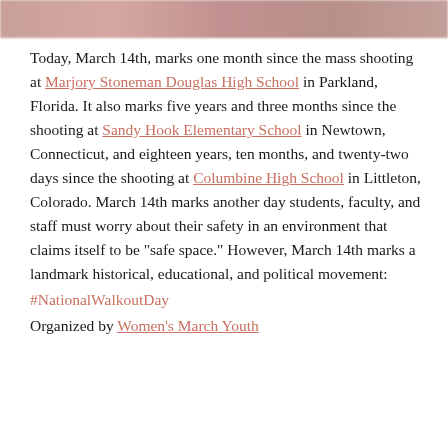[Figure (photo): Blurred/blended header image bar at the top of the page]
Today, March 14th, marks one month since the mass shooting at Marjory Stoneman Douglas High School in Parkland, Florida. It also marks five years and three months since the shooting at Sandy Hook Elementary School in Newtown, Connecticut, and eighteen years, ten months, and twenty-two days since the shooting at Columbine High School in Littleton, Colorado. March 14th marks another day students, faculty, and staff must worry about their safety in an environment that claims itself to be "safe space." However, March 14th marks a landmark historical, educational, and political movement:
#NationalWalkoutDay
Organized by Women's March Youth